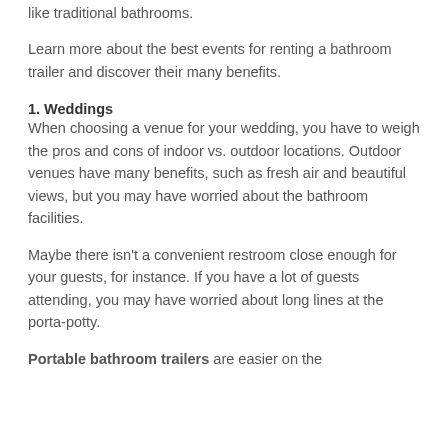like traditional bathrooms.
Learn more about the best events for renting a bathroom trailer and discover their many benefits.
1. Weddings
When choosing a venue for your wedding, you have to weigh the pros and cons of indoor vs. outdoor locations. Outdoor venues have many benefits, such as fresh air and beautiful views, but you may have worried about the bathroom facilities.
Maybe there isn't a convenient restroom close enough for your guests, for instance. If you have a lot of guests attending, you may have worried about long lines at the porta-potty.
Portable bathroom trailers are easier on the